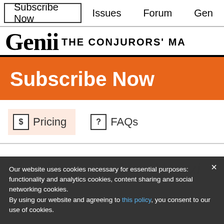Subscribe Now  Issues  Forum  Gen
[Figure (logo): Genii The Conjurors' Magazine logo — bold serif Genii text with dots above the i's, followed by THE CONJURORS' MA in bold sans-serif caps]
Subscribe Now
$ Pricing   ? FAQs
Our website uses cookies necessary for essential purposes: functionality and analytics cookies, content sharing and social networking cookies.
By using our website and agreeing to this policy, you consent to our use of cookies.